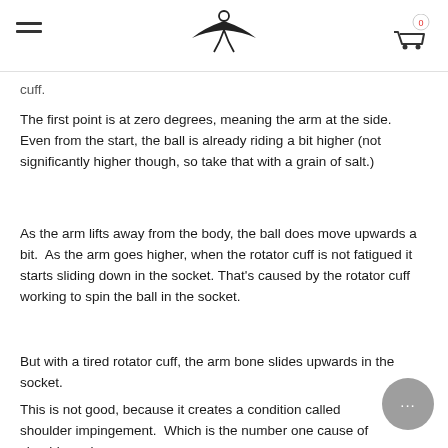[Navigation header with hamburger menu, logo, and cart icon]
cuff.
The first point is at zero degrees, meaning the arm at the side.  Even from the start, the ball is already riding a bit higher (not significantly higher though, so take that with a grain of salt.)
As the arm lifts away from the body, the ball does move upwards a bit.  As the arm goes higher, when the rotator cuff is not fatigued it starts sliding down in the socket. That's caused by the rotator cuff working to spin the ball in the socket.
But with a tired rotator cuff, the arm bone slides upwards in the socket.
This is not good, because it creates a condition called shoulder impingement.  Which is the number one cause of shoulder pain.